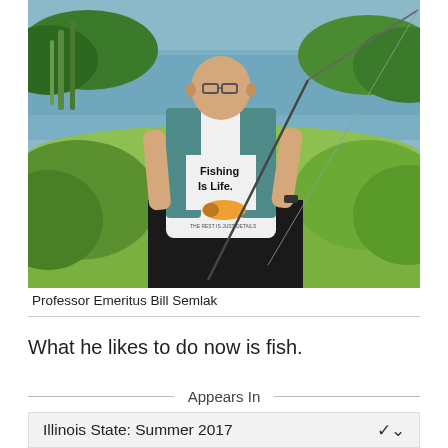[Figure (photo): An elderly man wearing a white 'Fishing Is Life.' t-shirt with a teal vest, holding a fishing rod, standing near a pond with green vegetation and water in the background.]
Professor Emeritus Bill Semlak
What he likes to do now is fish.
Appears In
Illinois State: Summer 2017